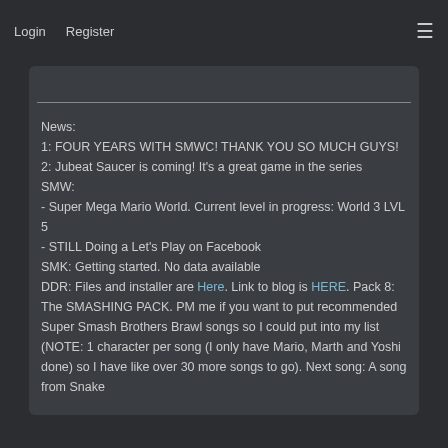Login   Register   ≡
News:
1: FOUR YEARS WITH SMWC! THANK YOU SO MUCH GUYS!
2: Jubeat Saucer is coming! It's a great game in the series
SMW:
- Super Mega Mario World. Current level in progress: World 3 LVL 5
- STILL Doing a Let's Play on Facebook
SMK: Getting started. No data available
DDR: Files and installer are Here. Link to blog is HERE. Pack 8: The SMASHING PACK. PM me if you want to put recommended Super Smash Brothers Brawl songs so I could put into my list (NOTE: 1 character per song (I only have Mario, Marth and Yoshi done) so I have like over 30 more songs to go). Next song: A song from Snake